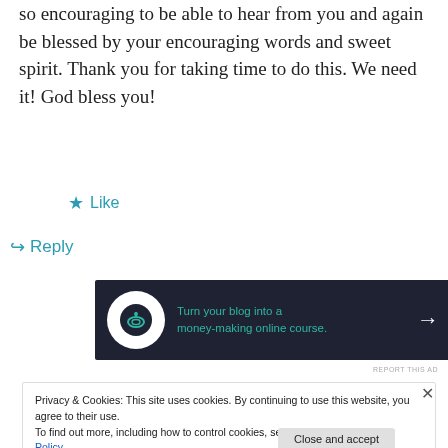so encouraging to be able to hear from you and again be blessed by your encouraging words and sweet spirit. Thank you for taking time to do this. We need it! God bless you!
★ Like
↪ Reply
[Figure (screenshot): Dark advertisement banner: Turn your blog into a money-making online course. with arrow icon]
REPORT THIS AD
Privacy & Cookies: This site uses cookies. By continuing to use this website, you agree to their use. To find out more, including how to control cookies, see here: Cookie Policy